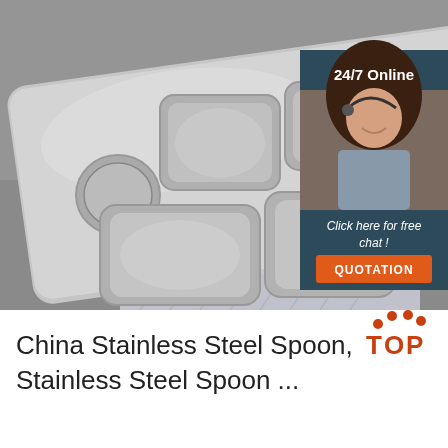[Figure (photo): Photo of a stainless steel divided food tray/plate with multiple compartments and a small circular cup holder, placed on a gray surface with a geometric patterned cloth. Overlay in top-right: dark teal box with '24/7 Online', photo of a female customer service agent wearing a headset, 'Click here for free chat!' text, and an orange QUOTATION button.]
[Figure (logo): Top brand logo with orange dotted arc and text 'TOP' in orange/red letters]
China Stainless Steel Spoon, Stainless Steel Spoon ...